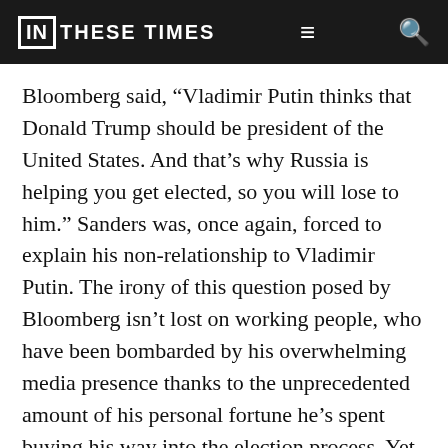IN THESE TIMES
Bloomberg said, “Vladimir Putin thinks that Donald Trump should be president of the United States. And that’s why Russia is helping you get elected, so you will lose to him.” Sanders was, once again, forced to explain his non-relationship to Vladimir Putin. The irony of this question posed by Bloomberg isn’t lost on working people, who have been bombarded by his overwhelming media presence thanks to the unprecedented amount of his personal fortune he’s spent buying his way into the election process. Yet, instead of focusing on Bloomberg’s unprecedented spending, it almost felt like there was a revival of the Cold War on stage.